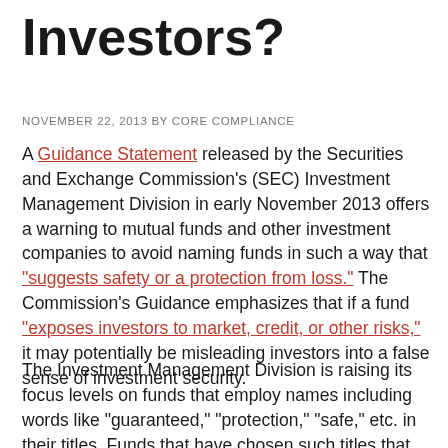Investors?
NOVEMBER 22, 2013 BY CORE COMPLIANCE
A Guidance Statement released by the Securities and Exchange Commission's (SEC) Investment Management Division in early November 2013 offers a warning to mutual funds and other investment companies to avoid naming funds in such a way that "suggests safety or a protection from loss." The Commission's Guidance emphasizes that if a fund "exposes investors to market, credit, or other risks," it may potentially be misleading investors into a false sense of investment security.
The Investment Management Division is raising its focus levels on funds that employ names including words like "guaranteed," "protection," "safe," etc. in their titles. Funds that have chosen such titles that